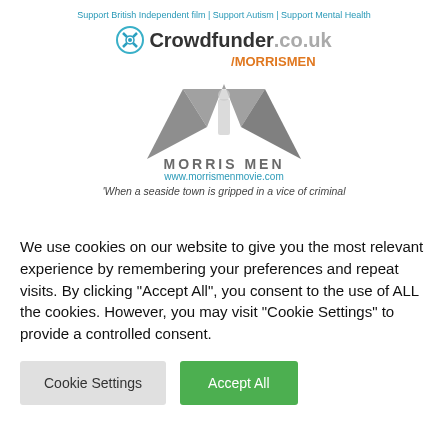Support British Independent film | Support Autism | Support Mental Health
[Figure (logo): Crowdfunder.co.uk logo with /MORRISMEN text below, and Morris Men film logo with stylized M mountain graphic and www.morrismenmovie.com URL]
'When a seaside town is gripped in a vice of criminal
We use cookies on our website to give you the most relevant experience by remembering your preferences and repeat visits. By clicking "Accept All", you consent to the use of ALL the cookies. However, you may visit "Cookie Settings" to provide a controlled consent.
Cookie Settings
Accept All